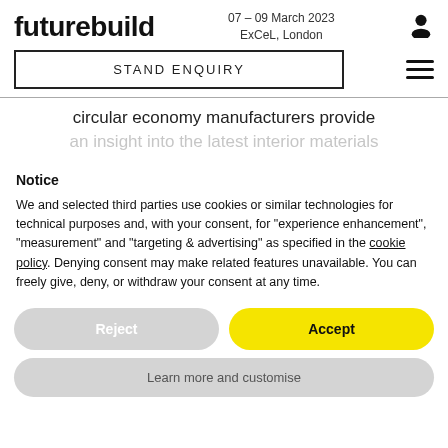futurebuild | 07 - 09 March 2023 ExCeL, London
STAND ENQUIRY
circular economy manufacturers provide
an insight into the latest interior materials
Notice
We and selected third parties use cookies or similar technologies for technical purposes and, with your consent, for “experience enhancement”, “measurement” and “targeting & advertising” as specified in the cookie policy. Denying consent may make related features unavailable. You can freely give, deny, or withdraw your consent at any time.
Reject
Accept
Learn more and customise